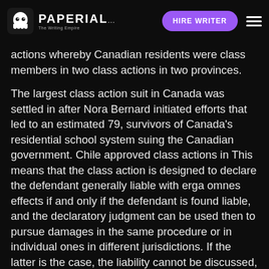PAPERIAL... HIRE WRITER
actions whereby Canadian residents were class members in two class actions in two provinces.
The largest class action suit in Canada was settled in after Nora Bernard initiated efforts that led to an estimated 79, survivors of Canada's residential school system suing the Canadian government. Chile approved class actions in This means that the class action is designed to declare the defendant generally liable with erga omnes effects if and only if the defendant is found liable, and the declaratory judgment can be used then to pursue damages in the same procedure or in individual ones in different jurisdictions. If the latter is the case, the liability cannot be discussed, but only the damages. This is the case when defendants can identify and compensate consumers directly, i. In such cases the judge can skip the compensatory stage and order redress directly.